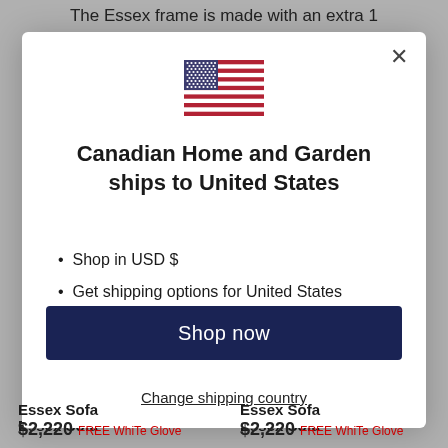The Essex frame is made with an extra 1
[Figure (screenshot): Modal dialog box showing Canadian Home and Garden ships to United States, with US flag icon, bullet points, Shop now button, and Change shipping country link]
Canadian Home and Garden ships to United States
Shop in USD $
Get shipping options for United States
Shop now
Change shipping country
Essex Sofa
$2,220
Essex Sofa
$2,220